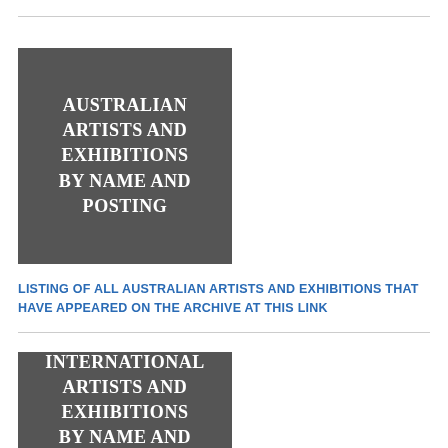[Figure (illustration): Dark grey square image block with white serif text reading: AUSTRALIAN ARTISTS AND EXHIBITIONS BY NAME AND POSTING]
LISTING OF ALL AUSTRALIAN ARTISTS AND EXHIBITIONS THAT HAVE APPEARED ON THE ARCHIVE AT THIS LINK
[Figure (illustration): Dark grey square image block with white serif text reading: INTERNATIONAL ARTISTS AND EXHIBITIONS BY NAME AND (posting, partially visible)]